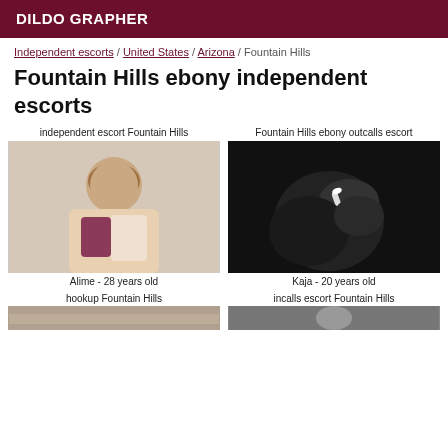DILDO GRAPHER
Independent escorts / United States / Arizona / Fountain Hills
Fountain Hills ebony independent escorts
independent escort Fountain Hills
[Figure (photo): Young woman in a pink jacket and dark outfit posing indoors]
Alime - 28 years old
Fountain Hills ebony outcalls escort
[Figure (photo): Black and white close-up photo of hands holding a cigarette]
Kaja - 20 years old
hookup Fountain Hills
incalls escort Fountain Hills